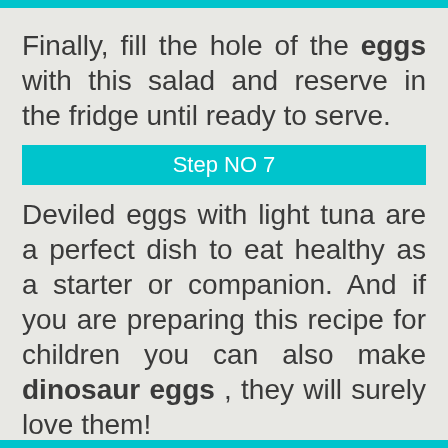Finally, fill the hole of the eggs with this salad and reserve in the fridge until ready to serve.
Step NO 7
Deviled eggs with light tuna are a perfect dish to eat healthy as a starter or companion. And if you are preparing this recipe for children you can also make dinosaur eggs , they will surely love them!